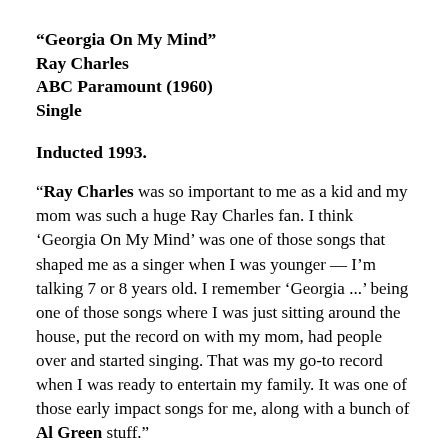“Georgia On My Mind”
Ray Charles
ABC Paramount (1960)
Single
Inducted 1993.
“Ray Charles was so important to me as a kid and my mom was such a huge Ray Charles fan. I think ‘Georgia On My Mind’ was one of those songs that shaped me as a singer when I was younger — I’m talking 7 or 8 years old. I remember ‘Georgia ...’ being one of those songs where I was just sitting around the house, put the record on with my mom, had people over and started singing. That was my go-to record when I was ready to entertain my family. It was one of those early impact songs for me, along with a bunch of Al Green stuff.”